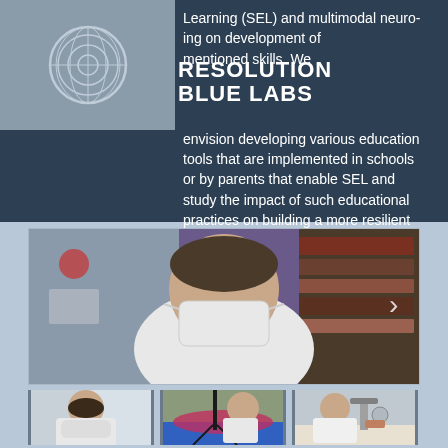[Figure (logo): Resolution Blue Labs circular logo watermark in grey]
RESOLUTION BLUE LABS
Learning (SEL) and multimodal neuro- ing on development of mentioned skills. We envision developing various education tools that are implemented in schools or by parents that enable SEL and study the impact of such educational practices on building a more resilient future generation.
[Figure (photo): A man wearing a white face mask and white shirt sitting at a desk with bookshelves in the background]
[Figure (photo): Person in white lab coat with mask, thumbnail image]
[Figure (photo): Person working with equipment on a colorful surface, thumbnail image]
[Figure (photo): Person in white coat at a table with lab equipment, thumbnail image]